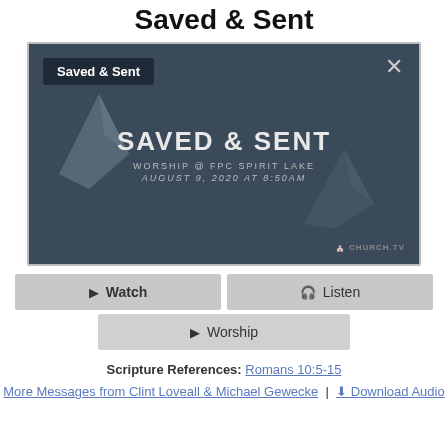Saved & Sent
[Figure (screenshot): Video thumbnail/player for 'Saved & Sent' worship service at FPC Spirit Lake, August 9, 2020 at 8:50AM. Shows a dark blue-grey background with paper airplane/fold decorations, the text 'SAVED & SENT', 'WORSHIP @ FPC SPIRIT LAKE', 'AUGUST 9, 2020 AT 8:50AM', a close button (X), a label 'Saved & Sent', and a Church.tv logo.]
Watch
Listen
Worship
Scripture References: Romans 10:5-15
More Messages from Clint Loveall & Michael Gewecke | Download Audio